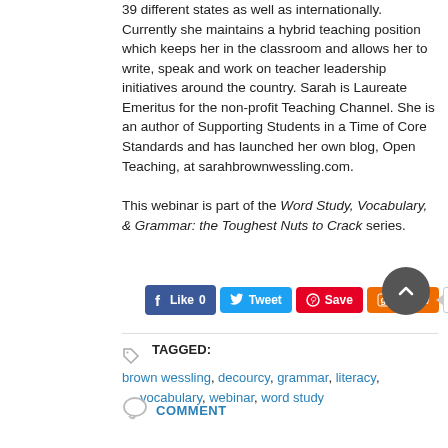39 different states as well as internationally. Currently she maintains a hybrid teaching position which keeps her in the classroom and allows her to write, speak and work on teacher leadership initiatives around the country. Sarah is Laureate Emeritus for the non-profit Teaching Channel. She is an author of Supporting Students in a Time of Core Standards and has launched her own blog, Open Teaching, at sarahbrownwessling.com.
This webinar is part of the Word Study, Vocabulary, & Grammar: the Toughest Nuts to Crack series.
[Figure (other): Social sharing buttons: Facebook Like 0, Tweet, Pinterest Save, Google+1 Share, count badge showing 1. Back-to-top circular button.]
TAGGED: brown wessling, decourcy, grammar, literacy, vocabulary, webinar, word study
COMMENT